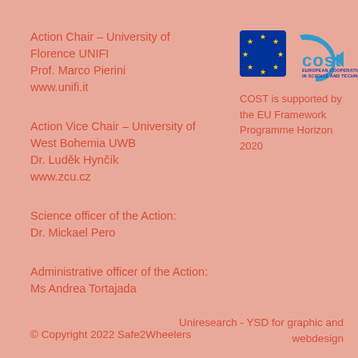Action Chair – University of Florence UNIFI
Prof. Marco Pierini
www.unifi.it
[Figure (logo): COST European Cooperation in Science and Technology logo with EU flag stars]
COST is supported by the EU Framework Programme Horizon 2020
Action Vice Chair – University of West Bohemia UWB
Dr. Luděk Hynčík
www.zcu.cz
Science officer of the Action:
Dr. Mickael Pero
Administrative officer of the Action:
Ms Andrea Tortajada
© Copyright 2022 Safe2Wheelers
Uniresearch - YSD for graphic and webdesign